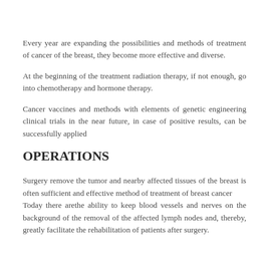Every year are expanding the possibilities and methods of treatment of cancer of the breast, they become more effective and diverse.
At the beginning of the treatment radiation therapy, if not enough, go into chemotherapy and hormone therapy.
Cancer vaccines and methods with elements of genetic engineering clinical trials in the near future, in case of positive results, can be successfully applied
OPERATIONS
Surgery remove the tumor and nearby affected tissues of the breast is often sufficient and effective method of treatment of breast cancer
Today there arethe ability to keep blood vessels and nerves on the background of the removal of the affected lymph nodes and, thereby, greatly facilitate the rehabilitation of patients after surgery.